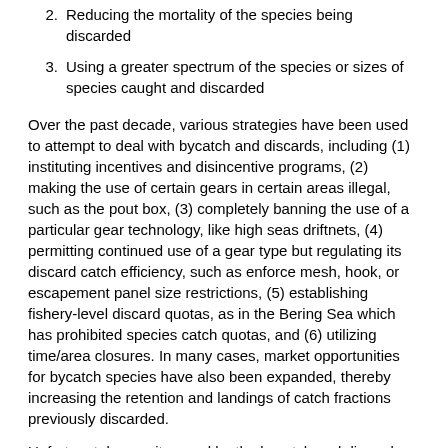2. Reducing the mortality of the species being discarded
3. Using a greater spectrum of the species or sizes of species caught and discarded
Over the past decade, various strategies have been used to attempt to deal with bycatch and discards, including (1) instituting incentives and disincentive programs, (2) making the use of certain gears in certain areas illegal, such as the pout box, (3) completely banning the use of a particular gear technology, like high seas driftnets, (4) permitting continued use of a gear type but regulating its discard catch efficiency, such as enforce mesh, hook, or escapement panel size restrictions, (5) establishing fishery-level discard quotas, as in the Bering Sea which has prohibited species catch quotas, and (6) utilizing time/area closures. In many cases, market opportunities for bycatch species have also been expanded, thereby increasing the retention and landings of catch fractions previously discarded.
Unfortunately, as witnessed by the bycatch and discard data presented in Chapter 1 of this volume, the aforementioned strategies have not yet addressed a majority of the bycatch and discard problems. Great quantities of non-target finfish and shellfish are being removed by global fisheries. On average, 0.32 mt of fish are estimated to be discarded into the sea for every metric ton landed for human consumption and other